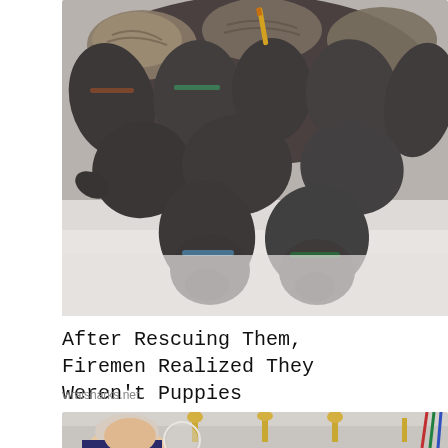[Figure (photo): Overhead view of several dark grey/charcoal colored young animals (which appear to be puppies but are actually not) lying on a white surface, with some striped/tabby cats visible among them. The animals are wearing small colored collars.]
After Rescuing Them, Firemen Realized They Weren't Puppies
viralsharks.net
[Figure (photo): Partial photo of an elderly man (appears to be a political figure) speaking, with golden candelabras and colorful ribbons visible in the background of what appears to be a formal venue.]